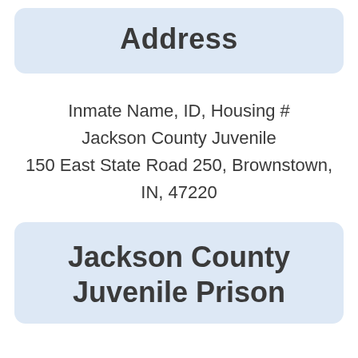Address
Inmate Name, ID, Housing #
Jackson County Juvenile
150 East State Road 250, Brownstown, IN, 47220
Jackson County Juvenile Prison